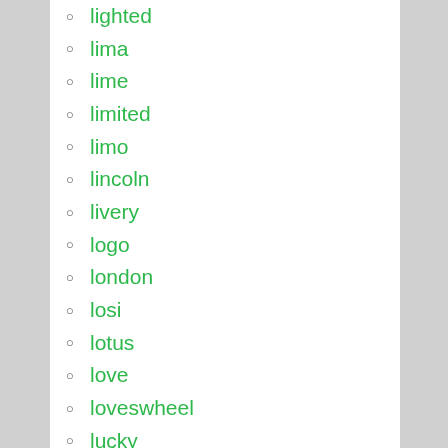lighted
lima
lime
limited
limo
lincoln
livery
logo
london
losi
lotus
love
loveswheel
lucky
luxury
lyriq
m10014
m135i
ma822